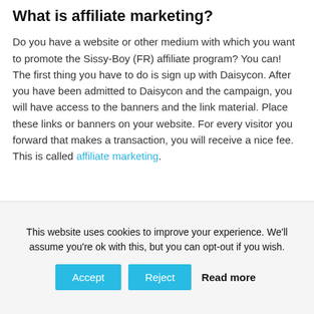What is affiliate marketing?
Do you have a website or other medium with which you want to promote the Sissy-Boy (FR) affiliate program? You can! The first thing you have to do is sign up with Daisycon. After you have been admitted to Daisycon and the campaign, you will have access to the banners and the link material. Place these links or banners on your website. For every visitor you forward that makes a transaction, you will receive a nice fee. This is called affiliate marketing.
This website uses cookies to improve your experience. We'll assume you're ok with this, but you can opt-out if you wish.